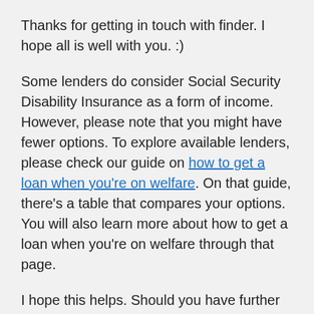Thanks for getting in touch with finder. I hope all is well with you. :)
Some lenders do consider Social Security Disability Insurance as a form of income. However, please note that you might have fewer options. To explore available lenders, please check our guide on how to get a loan when you're on welfare. On that guide, there's a table that compares your options. You will also learn more about how to get a loan when you're on welfare through that page.
I hope this helps. Should you have further questions, please don't hesitate to reach out again.
Have a wonderful day!
Cheers,